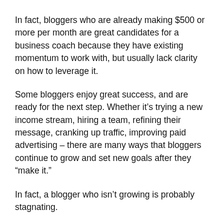In fact, bloggers who are already making $500 or more per month are great candidates for a business coach because they have existing momentum to work with, but usually lack clarity on how to leverage it.
Some bloggers enjoy great success, and are ready for the next step. Whether it’s trying a new income stream, hiring a team, refining their message, cranking up traffic, improving paid advertising – there are many ways that bloggers continue to grow and set new goals after they “make it.”
In fact, a blogger who isn’t growing is probably stagnating.
At this stage, bloggers are more used to being in business, and have learned the value of growth and in investing in themselves.